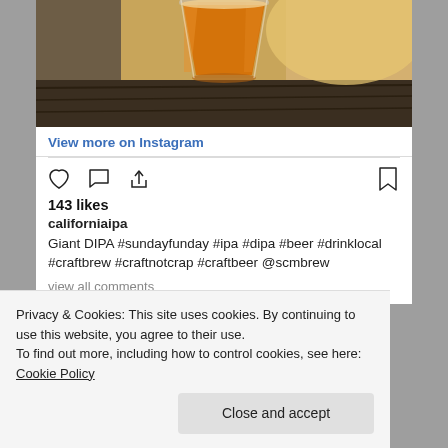[Figure (photo): Photo of an orange/amber beer in a pint glass on a wooden surface, viewed from slightly above]
View more on Instagram
143 likes
californiaipa
Giant DIPA #sundayfunday #ipa #dipa #beer #drinklocal #craftbrew #craftnotcrap #craftbeer @scmbrew
view all comments
Privacy & Cookies: This site uses cookies. By continuing to use this website, you agree to their use.
To find out more, including how to control cookies, see here: Cookie Policy
Close and accept